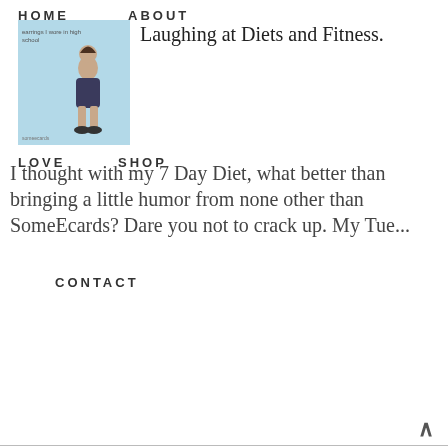HOME  ABOUT  LOVE  SHOP  CONTACT
[Figure (illustration): Small vintage-style illustration on light blue background showing a woman sitting on the floor putting on high heel shoes. Text reads 'earrings I wore in high school' with SomeEcards logo.]
Laughing at Diets and Fitness.
I thought with my 7 Day Diet, what better than bringing a little humor from none other than SomeEcards? Dare you not to crack up. My Tue...
[Figure (photo): Photo of colorful gift boxes and beauty/cosmetic items on a pink and red patterned background for New Year's Resolution Box LINK-UP.]
New Year's Resolution Box LINK-UP
Time to show off my New